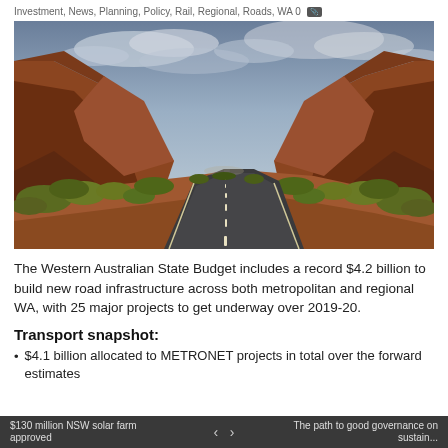Investment, News, Planning, Policy, Rail, Regional, Roads, WA 0
[Figure (photo): Wide-angle perspective photograph of a winding two-lane road through red-rock canyon landscape in Western Australia, with dramatic cloudy sky overhead and red sandstone cliffs on both sides, green-yellow scrub vegetation along the roadside.]
The Western Australian State Budget includes a record $4.2 billion to build new road infrastructure across both metropolitan and regional WA, with 25 major projects to get underway over 2019-20.
Transport snapshot:
$4.1 billion allocated to METRONET projects in total over the forward estimates
$130 million NSW solar farm approved  <  >  The path to good governance on sustain...